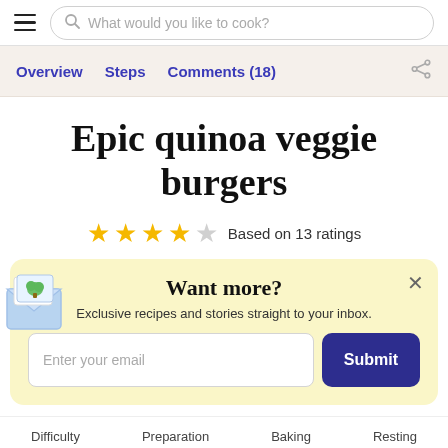What would you like to cook?
Overview  Steps  Comments (18)
Epic quinoa veggie burgers
Based on 13 ratings
Want more?
Exclusive recipes and stories straight to your inbox.
Enter your email  Submit
Difficulty  Preparation  Baking  Resting